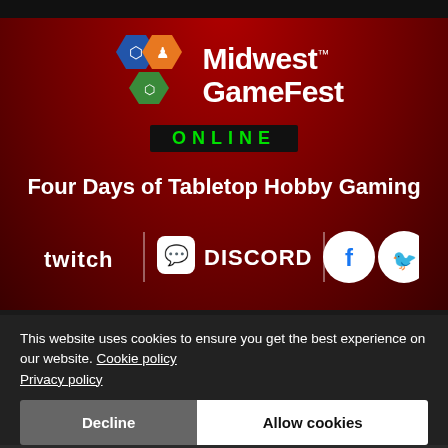[Figure (logo): Midwest GameFest Online logo with hexagonal icons (dice, chess piece, tank), white text 'Midwest GameFest' with trademark symbol, and black badge with green 'ONLINE' text]
Four Days of Tabletop Hobby Gaming
[Figure (logo): Social media logos row: Twitch logo, vertical divider, Discord logo with text, vertical divider, Facebook circle icon, Twitter circle icon]
This website uses cookies to ensure you get the best experience on our website. Cookie policy Privacy policy
Decline
Allow cookies
HOME ▶ MIDWEST GAMEFEST ONLINE ▶ FAQ ▶ EVENTS FAQ